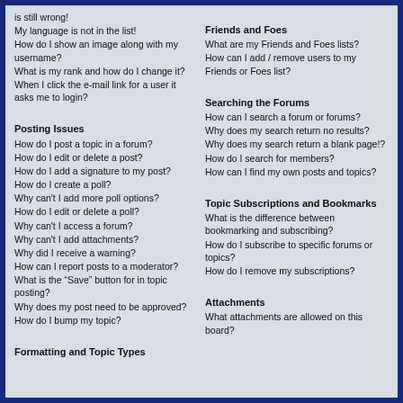is still wrong!
My language is not in the list!
How do I show an image along with my username?
What is my rank and how do I change it?
When I click the e-mail link for a user it asks me to login?
Posting Issues
How do I post a topic in a forum?
How do I edit or delete a post?
How do I add a signature to my post?
How do I create a poll?
Why can't I add more poll options?
How do I edit or delete a poll?
Why can't I access a forum?
Why can't I add attachments?
Why did I receive a warning?
How can I report posts to a moderator?
What is the “Save” button for in topic posting?
Why does my post need to be approved?
How do I bump my topic?
Formatting and Topic Types
Friends and Foes
What are my Friends and Foes lists?
How can I add / remove users to my Friends or Foes list?
Searching the Forums
How can I search a forum or forums?
Why does my search return no results?
Why does my search return a blank page!?
How do I search for members?
How can I find my own posts and topics?
Topic Subscriptions and Bookmarks
What is the difference between bookmarking and subscribing?
How do I subscribe to specific forums or topics?
How do I remove my subscriptions?
Attachments
What attachments are allowed on this board?